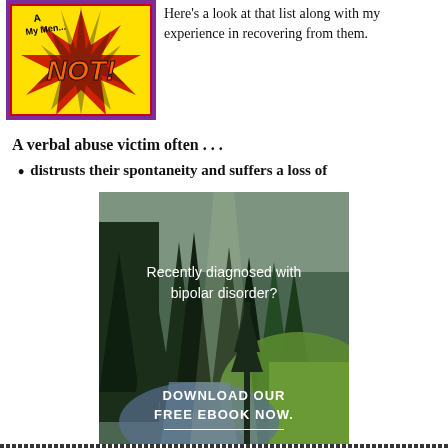[Figure (illustration): Book cover illustration with colorful burst design and text 'NOT!' visible, with partial text 'A... My Men...' at top left]
Here's a look at that list along with my experience in recovering from them.
A verbal abuse victim often . . .
distrusts their spontaneity and suffers a loss of
[Figure (photo): Forest and river landscape photo with text overlay: 'Recently diagnosed with bipolar disorder?' and 'DOWNLOAD OUR FREE EBOOK NOW.' with underline]
advertisement